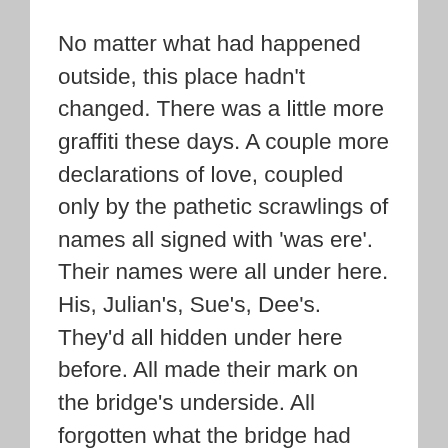No matter what had happened outside, this place hadn't changed. There was a little more graffiti these days. A couple more declarations of love, coupled only by the pathetic scrawlings of names all signed with 'was ere'. Their names were all under here. His, Julian's, Sue's, Dee's. They'd all hidden under here before. All made their mark on the bridge's underside. All forgotten what the bridge had once given them.
Once given him.
A refuge.
He'd remembered though. In the darkness, he'd remembered.
He'd remembered they'd forgotten.
And so he came. He came and he thought back